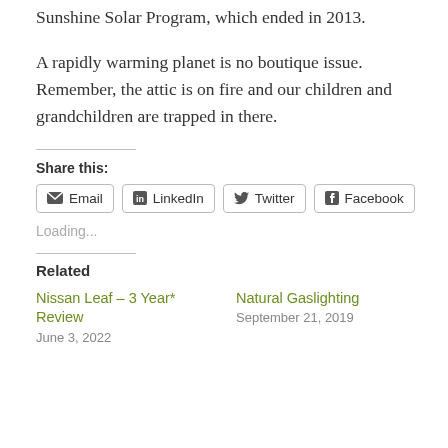Sunshine Solar Program, which ended in 2013.
A rapidly warming planet is no boutique issue. Remember, the attic is on fire and our children and grandchildren are trapped in there.
Share this:
Email  LinkedIn  Twitter  Facebook
Loading...
Related
Nissan Leaf – 3 Year* Review
June 3, 2022
Natural Gaslighting
September 21, 2019